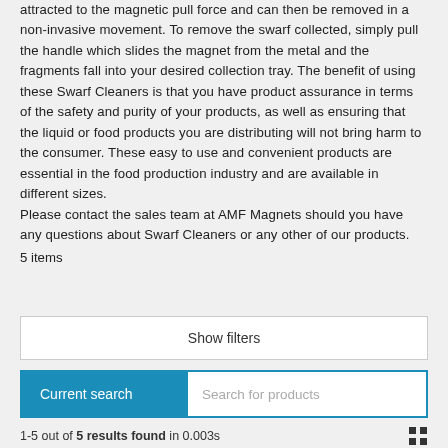attracted to the magnetic pull force and can then be removed in a non-invasive movement. To remove the swarf collected, simply pull the handle which slides the magnet from the metal and the fragments fall into your desired collection tray. The benefit of using these Swarf Cleaners is that you have product assurance in terms of the safety and purity of your products, as well as ensuring that the liquid or food products you are distributing will not bring harm to the consumer. These easy to use and convenient products are essential in the food production industry and are available in different sizes.
Please contact the sales team at AMF Magnets should you have any questions about Swarf Cleaners or any other of our products.
5 items
Show filters
Current search | Search for products
1-5 out of 5 results found in 0.003s